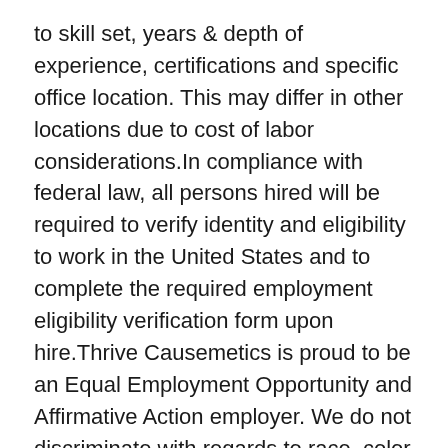to skill set, years & depth of experience, certifications and specific office location. This may differ in other locations due to cost of labor considerations.In compliance with federal law, all persons hired will be required to verify identity and eligibility to work in the United States and to complete the required employment eligibility verification form upon hire.Thrive Causemetics is proud to be an Equal Employment Opportunity and Affirmative Action employer. We do not discriminate with regards to race, color, religion, national origin, gender identity, gender expression, sex, sexual orientation, genetic information (including characteristics and testing), age, marital status, military and veteran status, status as an individual with a disability (physical and/or mental), and any other characteristic protected by applicable law.
Found this job inappropriate?  Report to us